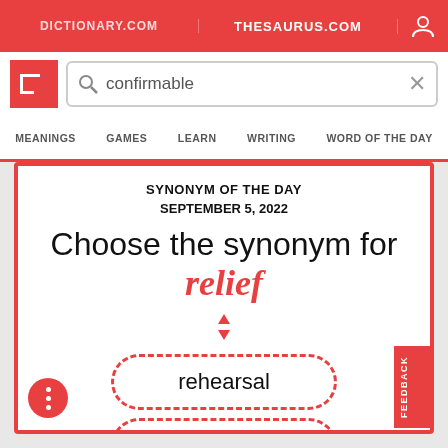DICTIONARY.COM   THESAURUS.COM
confirmable
MEANINGS   GAMES   LEARN   WRITING   WORD OF THE DAY
SYNONYM OF THE DAY
SEPTEMBER 5, 2022
Choose the synonym for relief
rehearsal
rejoinder